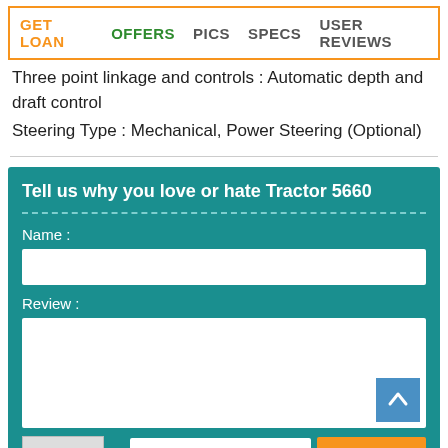GET LOAN  OFFERS  PICS  SPECS  USER REVIEWS
Three point linkage and controls : Automatic depth and draft control
Steering Type : Mechanical, Power Steering (Optional)
Tell us why you love or hate Tractor 5660
Name :
Review :